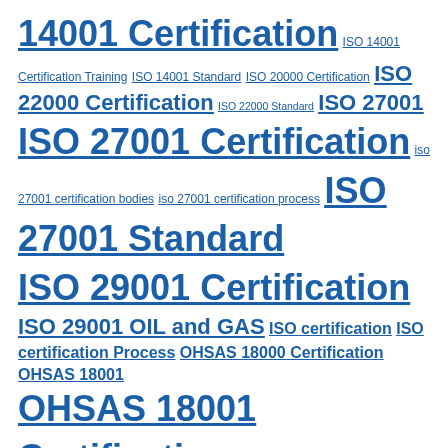14001 Certification ISO 14001 Certification Training ISO 14001 Standard ISO 20000 Certification ISO 22000 Certification ISO 22000 Standard ISO 27001 ISO 27001 Certification iso 27001 certification bodies iso 27001 certification process ISO 27001 Standard ISO 29001 Certification ISO 29001 OIL and GAS ISO certification ISO certification Process OHSAS 18000 Certification OHSAS 18001 OHSAS 18001 Certification OHSAS 18001 Certification Process OHSAS 18001 Standard Organization Quality Management Certification Quality Management System Quality System certification Security Management System Training